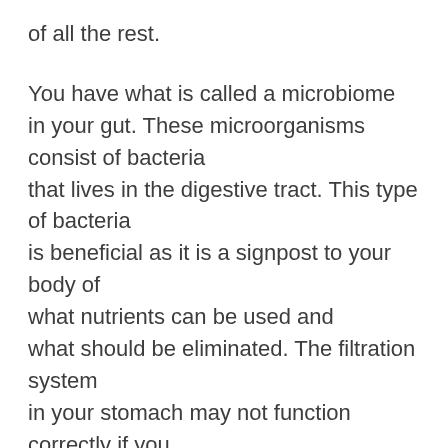of all the rest.
You have what is called a microbiome in your gut. These microorganisms consist of bacteria that lives in the digestive tract. This type of bacteria is beneficial as it is a signpost to your body of what nutrients can be used and what should be eliminated. The filtration system in your stomach may not function correctly if you don't have enough of this beneficial microbiome. To prevent you from getting sick, probiotics increase the gut microbiome.
Stressing about the possibility of getting sick is among the best ways to stress yourself out and in